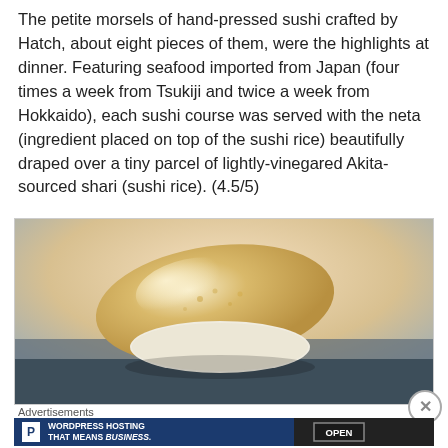The petite morsels of hand-pressed sushi crafted by Hatch, about eight pieces of them, were the highlights at dinner. Featuring seafood imported from Japan (four times a week from Tsukiji and twice a week from Hokkaido), each sushi course was served with the neta (ingredient placed on top of the sushi rice) beautifully draped over a tiny parcel of lightly-vinegared Akita-sourced shari (sushi rice). (4.5/5)
[Figure (photo): Close-up photo of a hand-pressed sushi piece on a dark slate surface. The sushi shows pale golden-cream colored seafood draped over white rice, with soft focus background.]
Advertisements
[Figure (screenshot): Advertisement banner for WordPress Hosting: blue left panel with P logo icon and text 'WORDPRESS HOSTING THAT MEANS BUSINESS.' Dark right panel showing an OPEN sign.]